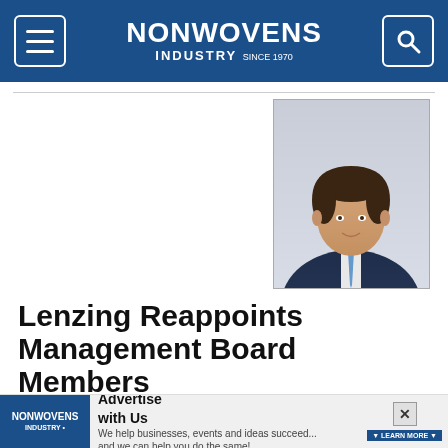NONWOVENS INDUSTRY
[Figure (photo): Professional headshot of a man in a dark suit with a blue tie, smiling, against a light grey background.]
Lenzing Reappoints Management Board Members
CFO Thomas Obendrauf and CCO Robert van de Kerkhof to remain at the company
01.03.19